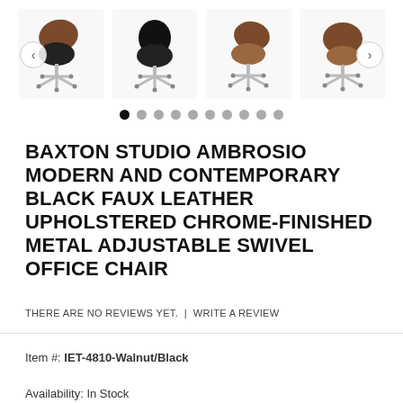[Figure (photo): Four thumbnail images of a mid-century modern office chair (Baxton Studio Ambrosio) shown from different angles, with navigation arrows on left and right sides]
[Figure (other): Carousel indicator dots — 10 dots, first one filled black, rest gray]
BAXTON STUDIO AMBROSIO MODERN AND CONTEMPORARY BLACK FAUX LEATHER UPHOLSTERED CHROME-FINISHED METAL ADJUSTABLE SWIVEL OFFICE CHAIR
THERE ARE NO REVIEWS YET. | WRITE A REVIEW
Item #: IET-4810-Walnut/Black
Availability: In Stock